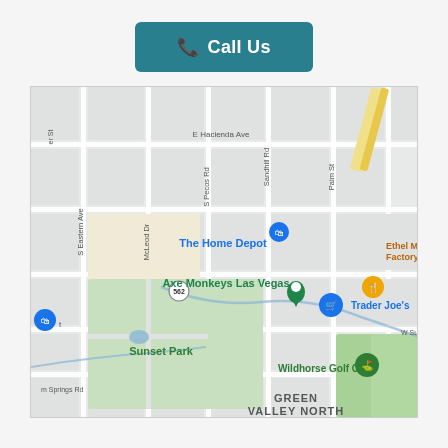[Figure (other): Call Us button with phone icon, teal/dark cyan background, white text]
[Figure (map): Google Maps screenshot showing Las Vegas area with landmarks: The Home Depot, Axe Monkeys Las Vegas (green pin), Trader Joe's (blue pin), Ethel M Chocolate Factory, Wildhorse Golf Club, Sunset Park, Green Valley North neighborhood. Streets visible: E Hacienda Ave, S Eastern Ave, McLeod Dr, S Pecos Rd, Sandhill Rd, Palm St, W Sunset. Route 562 marker visible.]